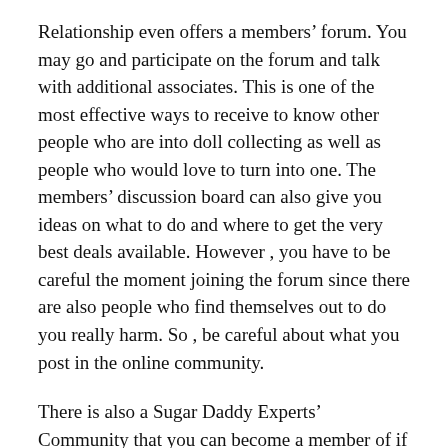Relationship even offers a members' forum. You may go and participate on the forum and talk with additional associates. This is one of the most effective ways to receive to know other people who are into doll collecting as well as people who would love to turn into one. The members' discussion board can also give you ideas on what to do and where to get the very best deals available. However , you have to be careful the moment joining the forum since there are also people who find themselves out to do you really harm. So , be careful about what you post in the online community.
There is also a Sugar Daddy Experts' Community that you can become a member of if you are thinking about becoming a specialist on this field. https://citystalandmaster.com/wp/2020/03/ With this forum, you can share recommendations with other people and share encounters with success. This can